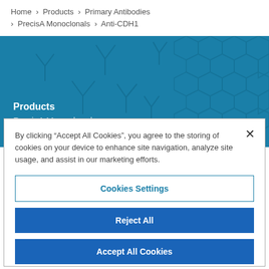Home › Products › Primary Antibodies › PrecisA Monoclonals › Anti-CDH1
[Figure (screenshot): Teal banner with antibody Y-shape illustrations and hexagonal patterns. Shows Products and PrecisA Monoclonals labels.]
By clicking "Accept All Cookies", you agree to the storing of cookies on your device to enhance site navigation, analyze site usage, and assist in our marketing efforts.
Cookies Settings
Reject All
Accept All Cookies